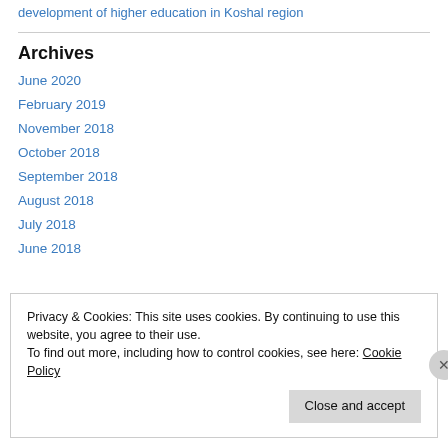Proposals to UNF of Science and higher education authorities for the development of higher education in Koshal region
Archives
June 2020
February 2019
November 2018
October 2018
September 2018
August 2018
July 2018
June 2018
Privacy & Cookies: This site uses cookies. By continuing to use this website, you agree to their use. To find out more, including how to control cookies, see here: Cookie Policy